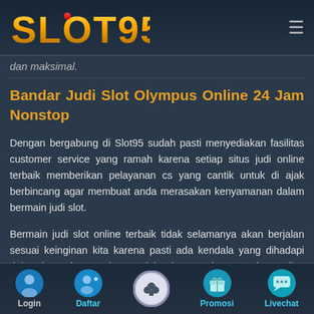[Figure (logo): SLOT95 logo in gold gradient text with red accent dot on the 'O']
dan maksimal.
Bandar Judi Slot Olympus Online 24 Jam Nonstop
Dengan bergabung di Slot95 sudah pasti menyediakan fasilitas customer service yang ramah karena setiap situs judi online terbaik memberikan pelayanan cs yang cantik untuk di ajak berbincang agar membuat anda merasakan kenyamanan dalam bermain judi slot.
Bermain judi slot online terbaik tidak selamanya akan berjalan sesuai keinginan kita karena pasti ada kendala yang dihadapi dalam bermain. Cs Slot95 selalu siap membantu 24 jam online nonstop tidak ada istirahat demi member setia yang bergabung
Login | Daftar | Promosi | Livechat